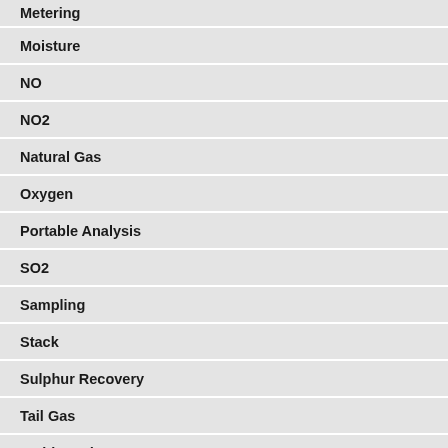Metering
Moisture
NO
NO2
Natural Gas
Oxygen
Portable Analysis
SO2
Sampling
Stack
Sulphur Recovery
Tail Gas
Wobbe Index
Liquid / Oil Analysis